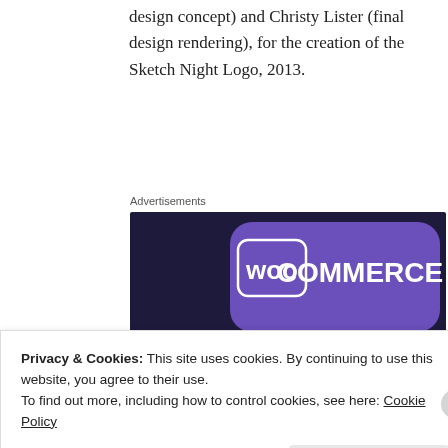design concept) and Christy Lister (final design rendering), for the creation of the Sketch Night Logo, 2013.
Advertisements
[Figure (illustration): WooCommerce advertisement banner with dark navy/purple background, a teal triangle shape, purple speech bubble with WooCommerce logo, and text 'Turn your hobby into a business in 8 steps']
Privacy & Cookies: This site uses cookies. By continuing to use this website, you agree to their use.
To find out more, including how to control cookies, see here: Cookie Policy
Close and accept